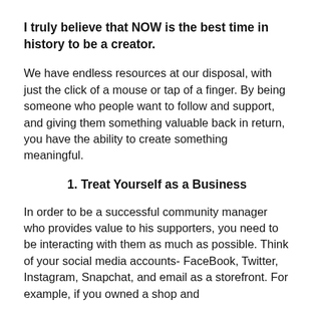I truly believe that NOW is the best time in history to be a creator.
We have endless resources at our disposal, with just the click of a mouse or tap of a finger. By being someone who people want to follow and support, and giving them something valuable back in return, you have the ability to create something meaningful.
1. Treat Yourself as a Business
In order to be a successful community manager who provides value to his supporters, you need to be interacting with them as much as possible. Think of your social media accounts- FaceBook, Twitter, Instagram, Snapchat, and email as a storefront. For example, if you owned a shop and